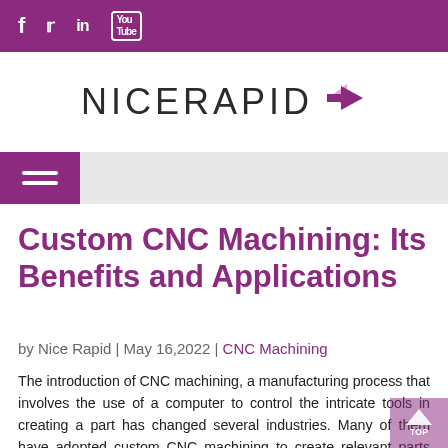f  Twitter  in  YouTube
[Figure (logo): NICERAPID logo with purple arrow icon]
[Figure (infographic): Hamburger menu navigation bar with purple icon and gray background]
Custom CNC Machining: Its Benefits and Applications
by Nice Rapid | May 16,2022 | CNC Machining
The introduction of CNC machining, a manufacturing process that involves the use of a computer to control the intricate tools in creating a part has changed several industries. Many of them have adopted custom CNC machining to create relevant parts with a specific purpose.